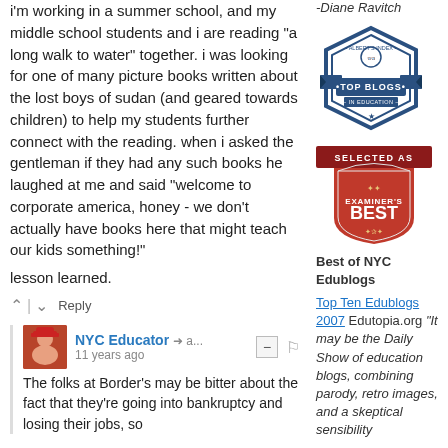i'm working in a summer school, and my middle school students and i are reading "a long walk to water" together. i was looking for one of many picture books written about the lost boys of sudan (and geared towards children) to help my students further connect with the reading. when i asked the gentleman if they had any such books he laughed at me and said "welcome to corporate america, honey - we don't actually have books here that might teach our kids something!"
lesson learned.
^ | v  Reply
-Diane Ravitch
[Figure (logo): Albert's Index Top Blogs in Education hexagonal badge]
[Figure (logo): Examiner's Best badge - Selected As Examiner's Best]
Best of NYC Edublogs
Top Ten Edublogs 2007 Edutopia.org "It may be the Daily Show of education blogs, combining parody, retro images, and a skeptical sensibility
NYC Educator → a...   11 years ago
The folks at Border's may be bitter about the fact that they're going into bankruptcy and losing their jobs, so